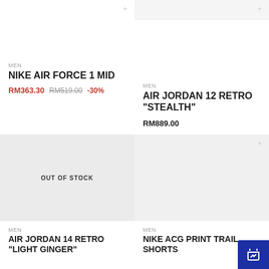MEN
NIKE AIR FORCE 1 MID
RM363.30  RM519.00  -30%
MEN
AIR JORDAN 12 RETRO "STEALTH"
RM889.00
[Figure (photo): Product image placeholder with OUT OF STOCK overlay]
MEN
AIR JORDAN 14 RETRO "LIGHT GINGER"
[Figure (photo): Product image placeholder, right bottom]
MEN
NIKE ACG PRINT TRAIL SHORTS